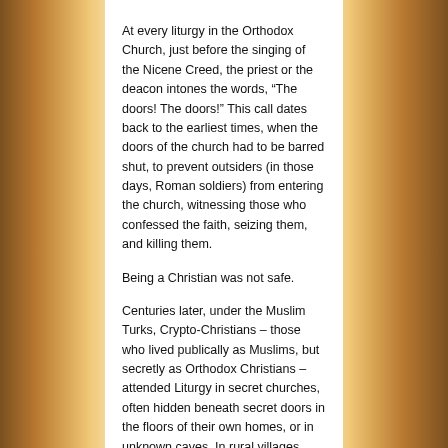At every liturgy in the Orthodox Church, just before the singing of the Nicene Creed, the priest or the deacon intones the words, “The doors! The doors!” This call dates back to the earliest times, when the doors of the church had to be barred shut, to prevent outsiders (in those days, Roman soldiers) from entering the church, witnessing those who confessed the faith, seizing them, and killing them.
Being a Christian was not safe.
Centuries later, under the Muslim Turks, Crypto-Christians – those who lived publically as Muslims, but secretly as Orthodox Christians – attended Liturgy in secret churches, often hidden beneath secret doors in the floors of their own homes, or in unknown caves. In rural villages, Orthodox priests sometimes posed as Muslim imams just to maintain their cover. If such a village of Crypto-Christians was discovered, everyone – from the old people down to the infants – was put to the sword.